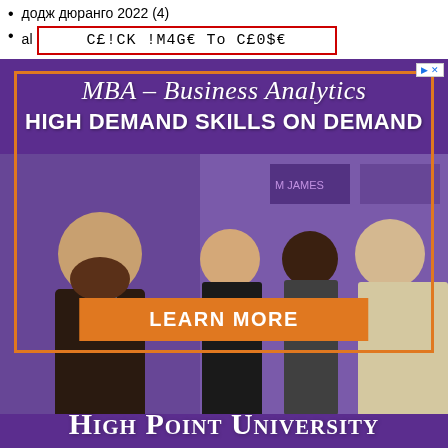додж дюранго 2022 (4)
al  C£!CK !M4G€ To C£0$€
[Figure (photo): Advertisement for High Point University MBA – Business Analytics program. Purple background with photo of business professionals in a networking event. Text: 'MBA – Business Analytics', 'HIGH DEMAND SKILLS ON DEMAND', orange 'LEARN MORE' button, 'HIGH POINT UNIVERSITY' at bottom.]